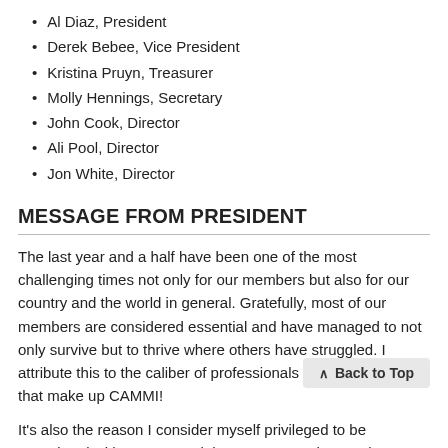Al Diaz, President
Derek Bebee, Vice President
Kristina Pruyn, Treasurer
Molly Hennings, Secretary
John Cook, Director
Ali Pool, Director
Jon White, Director
MESSAGE FROM PRESIDENT
The last year and a half have been one of the most challenging times not only for our members but also for our country and the world in general. Gratefully, most of our members are considered essential and have managed to not only survive but to thrive where others have struggled. I attribute this to the caliber of professionals and businesses that make up CAMMI!
It's also the reason I consider myself privileged to be associated with CAMMI and the reason I am honored to serve as your President for the 2021-2022 term. Since I last served as President over 20 years